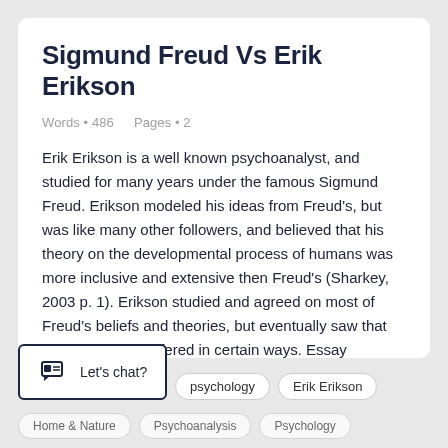Sigmund Freud Vs Erik Erikson
Words • 486    Pages • 2
Erik Erikson is a well known psychoanalyst, and studied for many years under the famous Sigmund Freud. Erikson modeled his ideas from Freud's, but was like many other followers, and believed that his theory on the developmental process of humans was more inclusive and extensive then Freud's (Sharkey, 2003 p. 1). Erikson studied and agreed on most of Freud's beliefs and theories, but eventually saw that his own beliefs differed in certain ways. Essay Example on Sigmund Freud Vs Erik......
Let's chat?
psychology   Erik Erikson